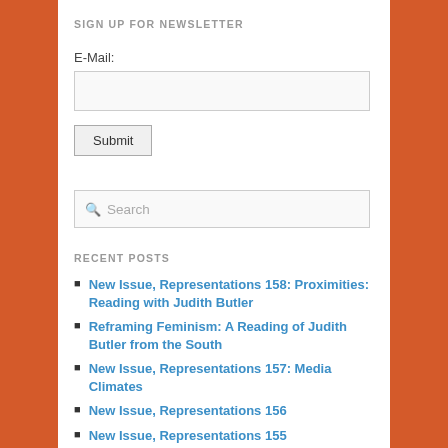SIGN UP FOR NEWSLETTER
E-Mail:
[email input field]
Submit
Search
RECENT POSTS
New Issue, Representations 158: Proximities: Reading with Judith Butler
Reframing Feminism: A Reading of Judith Butler from the South
New Issue, Representations 157: Media Climates
New Issue, Representations 156
New Issue, Representations 155
CATEGORIES